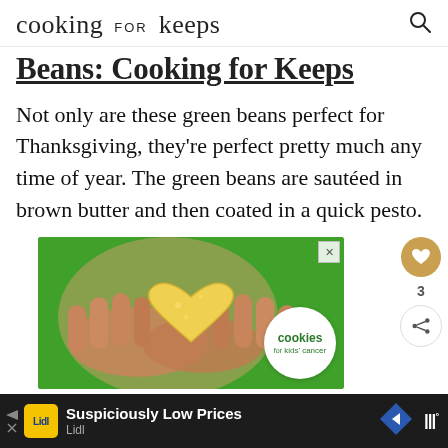cooking for keeps
Beans: Cooking for Keeps
Not only are these green beans perfect for Thanksgiving, they're perfect pretty much any time of year. The green beans are sautéed in brown butter and then coated in a quick pesto.
[Figure (photo): Advertisement showing hands holding a heart-shaped cookie/food item with 'cookies for kids' cancer' badge on green background]
[Figure (infographic): Bottom banner advertisement: Lidl 'Suspiciously Low Prices' ad with Lidl logo, blue diamond arrow icon, and TV channel icon]